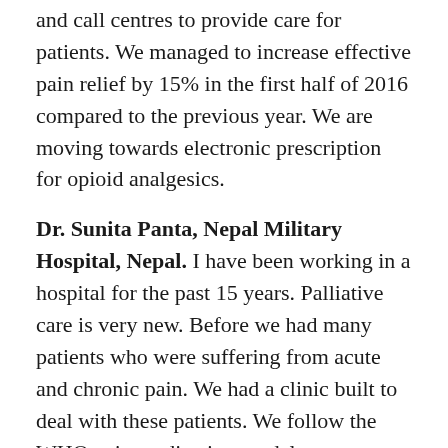and call centres to provide care for patients. We managed to increase effective pain relief by 15% in the first half of 2016 compared to the previous year. We are moving towards electronic prescription for opioid analgesics.
Dr. Sunita Panta, Nepal Military Hospital, Nepal. I have been working in a hospital for the past 15 years. Palliative care is very new. Before we had many patients who were suffering from acute and chronic pain. We had a clinic built to deal with these patients. We follow the WHO pain medication model to manage pain with opioids. For opioids the regulation was tight so there was limited access. We used codeine and tramadol but the results were not very good. There were advocacy groups in our hospital which dealt